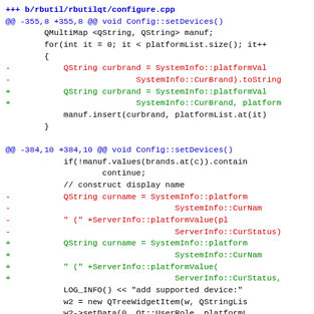[Figure (screenshot): Code diff view showing changes to rbutil/rbutilqt/configure.cpp with git diff format. Lines shown in blue for context/headers, red for removed lines, green for added lines, and black for unchanged context lines.]